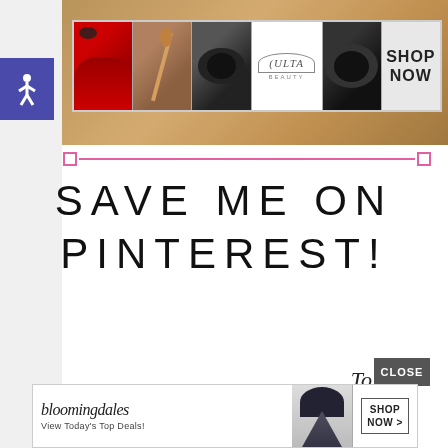[Figure (screenshot): Ulta beauty advertisement banner with makeup photos of lips, brush, eyes, Ulta logo, and SHOP NOW button]
[Figure (illustration): Pink horizontal selection line with small squares at each end]
SAVE ME ON PINTEREST!
[Figure (screenshot): Bloomingdales advertisement with model in hat, View Today's Top Deals!, and SHOP NOW button]
[Figure (illustration): Gray CLOSE button and cursive 'To' text]